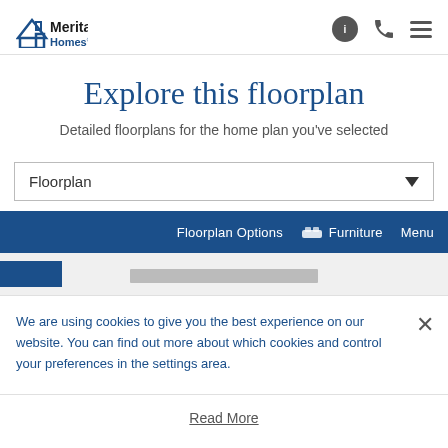[Figure (logo): Meritage Homes logo with house icon in blue and black wordmark]
Explore this floorplan
Detailed floorplans for the home plan you’ve selected
Floorplan (dropdown selector)
Floorplan Options   Furniture   Menu
We are using cookies to give you the best experience on our website. You can find out more about which cookies and control your preferences in the settings area.
Read More